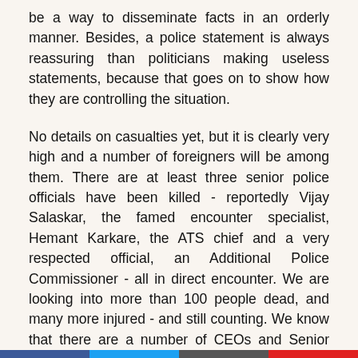be a way to disseminate facts in an orderly manner. Besides, a police statement is always reassuring than politicians making useless statements, because that goes on to show how they are controlling the situation.
No details on casualties yet, but it is clearly very high and a number of foreigners will be among them. There are at least three senior police officials have been killed - reportedly Vijay Salaskar, the famed encounter specialist, Hemant Karkare, the ATS chief and a very respected official, an Additional Police Commissioner - all in direct encounter. We are looking into more than 100 people dead, and many more injured - and still counting. We know that there are a number of CEOs and Senior Officials are sitting inside the Tajmahal Hotel, where an encounter is going on and grenades have just gone off on the Taj rooftop.
The pain feels very real, and close to heart. It seems I can't sleep today - at least till the terrorists have been seized and...